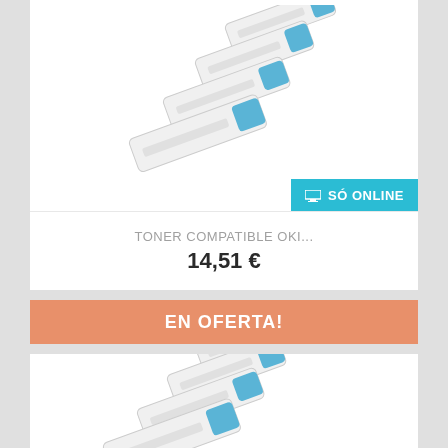[Figure (photo): Four white toner cartridges with blue caps arranged diagonally, for OKI compatible toner product listing]
SÓ ONLINE
TONER COMPATIBLE OKI...
14,51 €
EN OFERTA!
[Figure (photo): Four white toner cartridges with blue caps arranged diagonally, product listing on offer]